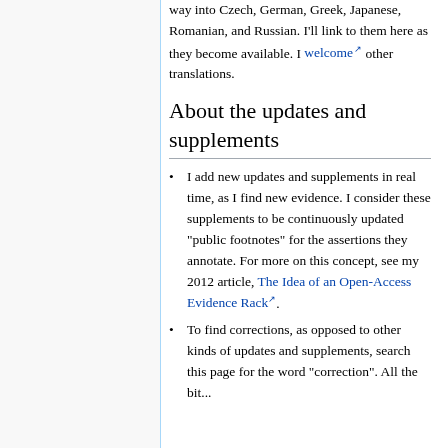way into Czech, German, Greek, Japanese, Romanian, and Russian. I'll link to them here as they become available. I welcome other translations.
About the updates and supplements
I add new updates and supplements in real time, as I find new evidence. I consider these supplements to be continuously updated "public footnotes" for the assertions they annotate. For more on this concept, see my 2012 article, The Idea of an Open-Access Evidence Rack.
To find corrections, as opposed to other kinds of updates and supplements, search this page for the word "correction". All the bit...